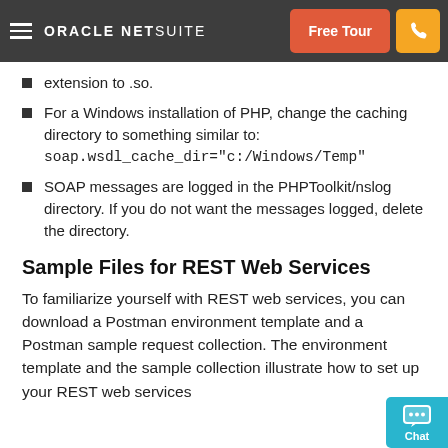ORACLE NETSUITE | Free Tour
extension to .so.
For a Windows installation of PHP, change the caching directory to something similar to: soap.wsdl_cache_dir="c:/Windows/Temp"
SOAP messages are logged in the PHPToolkit/nslog directory. If you do not want the messages logged, delete the directory.
Sample Files for REST Web Services
To familiarize yourself with REST web services, you can download a Postman environment template and a Postman sample request collection. The environment template and the sample collection illustrate how to set up your REST web services